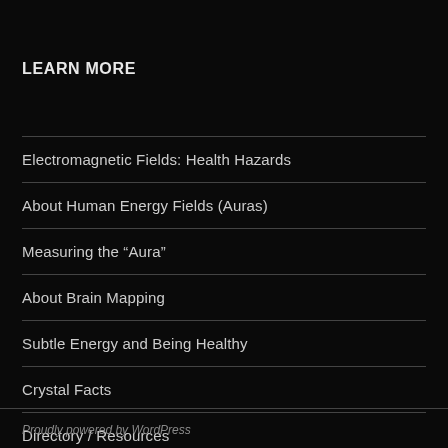LEARN MORE
Electromagnetic Fields: Health Hazards
About Human Energy Fields (Auras)
Measuring the “Aura”
About Brain Mapping
Subtle Energy and Being Healthy
Crystal Facts
Directory / Resources
Proudly powered by WordPress